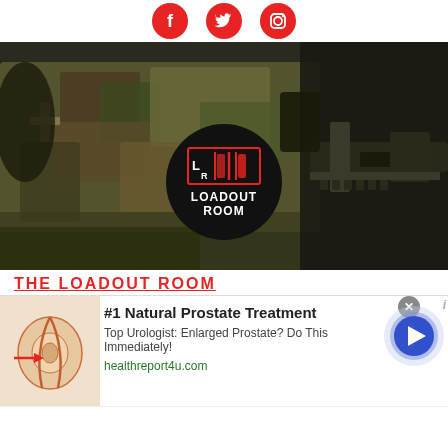[Figure (other): Row of three red circular social media icons: Facebook, Twitter, Instagram]
[Figure (photo): Hero photo showing military tactical gear including camouflage vest, rifle, and accessories laid out on a surface, with a circular Loadout Room logo overlay]
THE LOADOUT ROOM
[Figure (other): Advertisement banner: #1 Natural Prostate Treatment - Top Urologist: Enlarged Prostate? Do This Immediately! healthreport4u.com - with prostate medical illustration on left, blue circular arrow button on right, and X close button]